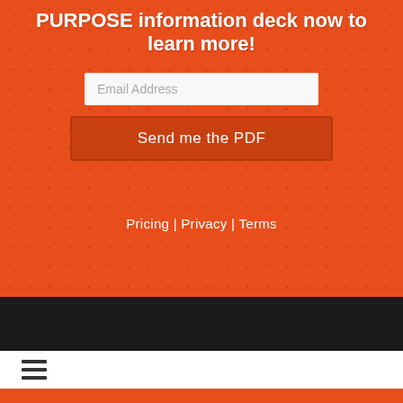PURPOSE information deck now to learn more!
[Figure (other): Email address input field with placeholder text 'Email Address']
[Figure (other): Button labeled 'Send me the PDF']
Pricing | Privacy | Terms
[Figure (other): Black navigation bar]
[Figure (other): White bar with hamburger menu icon (three horizontal lines)]
[Figure (other): Orange footer bar at bottom]